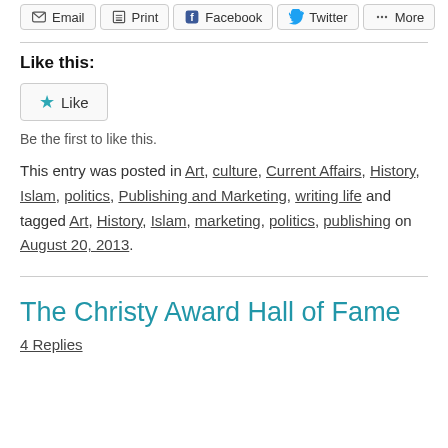[Figure (other): Social sharing buttons: Email, Print, Facebook, Twitter, More]
Like this:
[Figure (other): Like button with star icon]
Be the first to like this.
This entry was posted in Art, culture, Current Affairs, History, Islam, politics, Publishing and Marketing, writing life and tagged Art, History, Islam, marketing, politics, publishing on August 20, 2013.
The Christy Award Hall of Fame
4 Replies